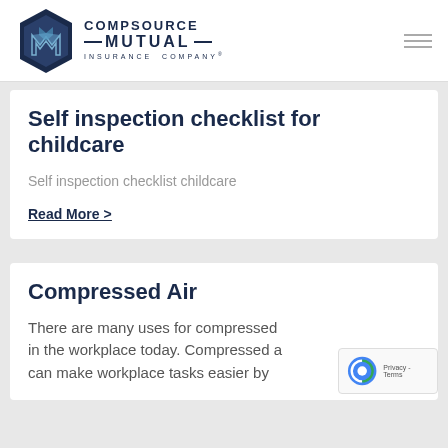CompSource Mutual Insurance Company
Self inspection checklist for childcare
Self inspection checklist childcare
Read More >
Compressed Air
There are many uses for compressed air in the workplace today. Compressed a... can make workplace tasks easier by...